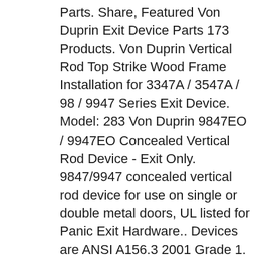Parts. Share, Featured Von Duprin Exit Device Parts 173 Products. Von Duprin Vertical Rod Top Strike Wood Frame Installation for 3347A / 3547A / 98 / 9947 Series Exit Device. Model: 283 Von Duprin 9847EO / 9947EO Concealed Vertical Rod Device - Exit Only. 9847/9947 concealed vertical rod device for use on single or double metal doors, UL listed for Panic Exit Hardware.. Devices are ANSI A156.3 2001 Grade 1.
Von Duprin 9847WDCEO / 9947WDCEO Wood Door Concealed Vertical Rod Device - Exit Only. 9847WDC / 9947WDC concealed vertical rod device for use on single or double wood doors,